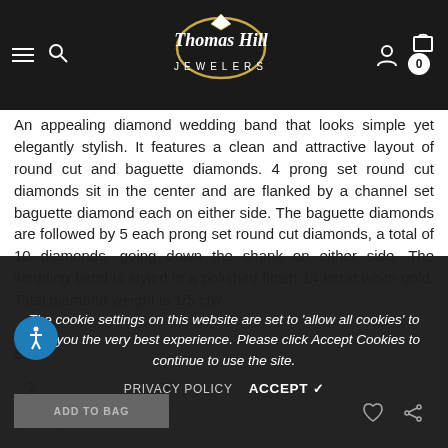[Figure (screenshot): Thomas Hill Jewelers website header with hamburger menu, search icon, gold ring logo, user icon, and cart badge showing 0]
An appealing diamond wedding band that looks simple yet elegantly stylish. It features a clean and attractive layout of round cut and baguette diamonds. 4 prong set round cut diamonds sit in the center and are flanked by a channel set baguette diamond each on either side. The baguette diamonds are followed by 5 each prong set round cut diamonds, a total of 10 diamonds, going down the shank on either side. The wedding band is styled in a polished finish 14 karat white gold. Total diamond weight is 1/5 ctw.
Size *
7
The cookie settings on this website are set to 'allow all cookies' to give you the very best experience. Please click Accept Cookies to continue to use the site.
PRIVACY POLICY   ACCEPT ✓
Quantity:
1   +
ADD TO BAG